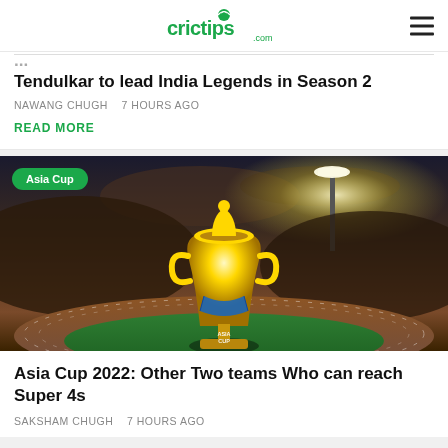crictips.com
Tendulkar to lead India Legends in Season 2
NAWANG CHUGH   7 HOURS AGO
READ MORE
[Figure (photo): Asia Cup trophy (golden cup) on a cricket stadium field at night with stadium lights in background. 'ASIA CUP' text visible on the base.]
Asia Cup 2022: Other Two teams Who can reach Super 4s
SAKSHAM CHUGH   7 HOURS AGO